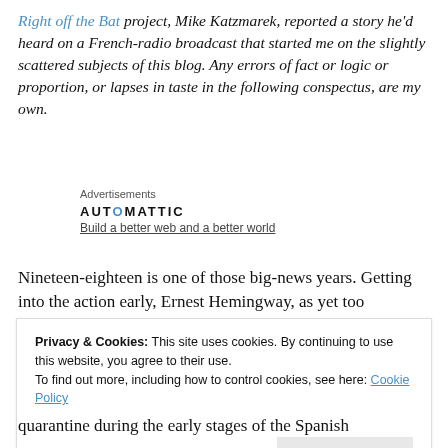Right off the Bat project, Mike Katzmarek, reported a story he'd heard on a French-radio broadcast that started me on the slightly scattered subjects of this blog. Any errors of fact or logic or proportion, or lapses in taste in the following conspectus, are my own.
Advertisements
[Figure (logo): Automattic logo with tagline 'Build a better web and a better world']
Nineteen-eighteen is one of those big-news years. Getting into the action early, Ernest Hemingway, as yet too
Privacy & Cookies: This site uses cookies. By continuing to use this website, you agree to their use.
To find out more, including how to control cookies, see here: Cookie Policy
Close and accept
quarantine during the early stages of the Spanish